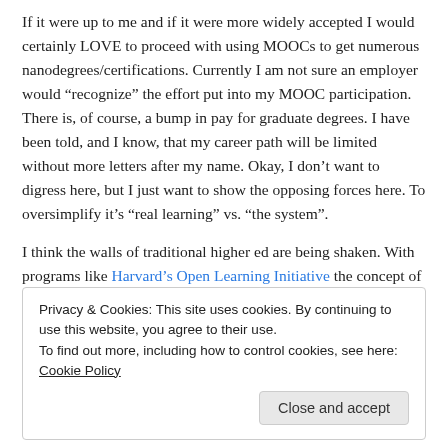If it were up to me and if it were more widely accepted I would certainly LOVE to proceed with using MOOCs to get numerous nanodegrees/certifications. Currently I am not sure an employer would “recognize” the effort put into my MOOC participation. There is, of course, a bump in pay for graduate degrees. I have been told, and I know, that my career path will be limited without more letters after my name. Okay, I don’t want to digress here, but I just want to show the opposing forces here. To oversimplify it’s “real learning” vs. “the system”.
I think the walls of traditional higher ed are being shaken. With programs like Harvard’s Open Learning Initiative the concept of credit and degrees is being disrupted. When you can take a
Privacy & Cookies: This site uses cookies. By continuing to use this website, you agree to their use.
To find out more, including how to control cookies, see here: Cookie Policy
Close and accept